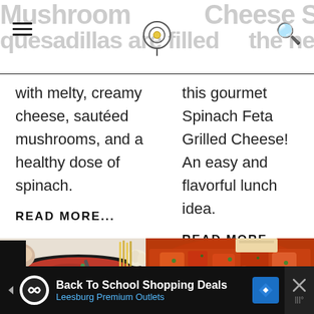Mushroom | Cheese Sandwich to | quesadillas are filled | the next level with
with melty, creamy cheese, sautéed mushrooms, and a healthy dose of spinach.
READ MORE...
this gourmet Spinach Feta Grilled Cheese! An easy and flavorful lunch idea.
READ MORE...
[Figure (photo): Black slow cooker with red tomato sauce and a spoon, surrounded by garlic and pasta on white background]
[Figure (photo): Red pan with chunky vegetable stew/soup with tomatoes, green herbs, and various vegetables]
Back To School Shopping Deals Leesburg Premium Outlets